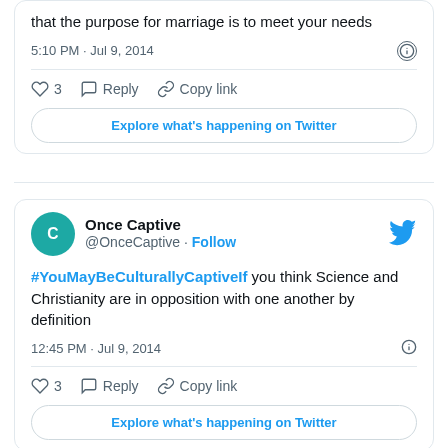that the purpose for marriage is to meet your needs
5:10 PM · Jul 9, 2014
3  Reply  Copy link
Explore what's happening on Twitter
Once Captive @OnceCaptive · Follow
#YouMayBeCulturallyCaptiveIf you think Science and Christianity are in opposition with one another by definition
12:45 PM · Jul 9, 2014
3  Reply  Copy link
Explore what's happening on Twitter